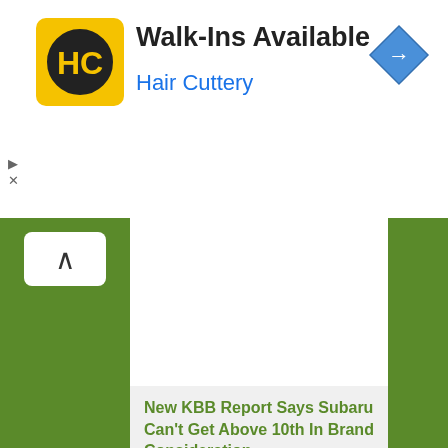[Figure (logo): Hair Cuttery logo - yellow square with HC monogram in black circle]
Walk-Ins Available
Hair Cuttery
[Figure (illustration): Blue diamond navigation/directions icon with right-turn arrow]
▷
✕
[Figure (illustration): Green sidebar layout with white center content area and up-arrow button]
New KBB Report Says Subaru Can't Get Above 10th In Brand Consideration
The NICB Says Your Subaru Forester Is Now A Prime Target For "Cat Burglars"